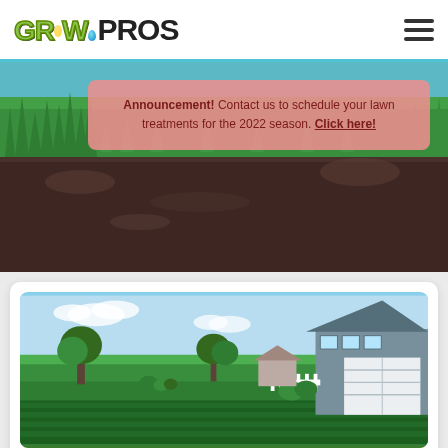[Figure (logo): GrowPros lawn care company logo with stylized green text and water drop icon]
[Figure (illustration): Hamburger menu icon with three horizontal lines]
[Figure (photo): Hero image showing green grass blades above dark soil cross-section with light blue sky border]
Announcement! Contact us to schedule your lawn treatments for the 2022 season. Click here!
[Figure (photo): Photo of a well-maintained green lawn with trees and a house with white garage door in background under blue sky]